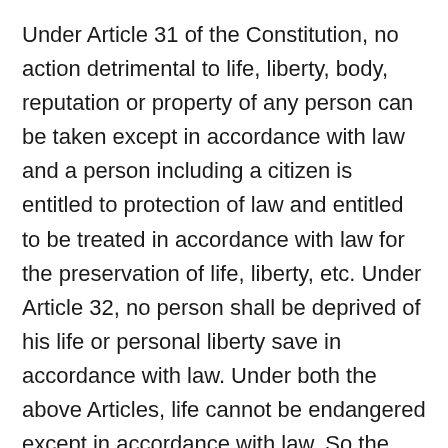Under Article 31 of the Constitution, no action detrimental to life, liberty, body, reputation or property of any person can be taken except in accordance with law and a person including a citizen is entitled to protection of law and entitled to be treated in accordance with law for the preservation of life, liberty, etc. Under Article 32, no person shall be deprived of his life or personal liberty save in accordance with law. Under both the above Articles, life cannot be endangered except in accordance with law. So the right to life is a fundamental right subject to the law of the land. Since the right to life has not been interpreted in our domain, we are to see what is the meaning of the right to life. In the absence of any such interpretation from our domain, we may see